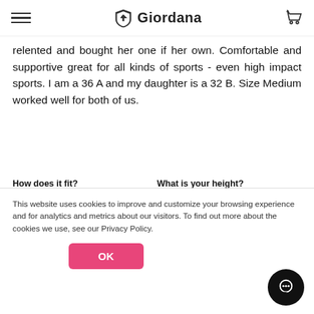Giordana
relented and bought her one if her own. Comfortable and supportive great for all kinds of sports - even high impact sports. I am a 36 A and my daughter is a 32 B. Size Medium worked well for both of us.
How does it fit? small | true to size | large
What is your height?
5'8"
What is your weight?
135
What size did you buy?
M
This website uses cookies to improve and customize your browsing experience and for analytics and metrics about our visitors. To find out more about the cookies we use, see our Privacy Policy.